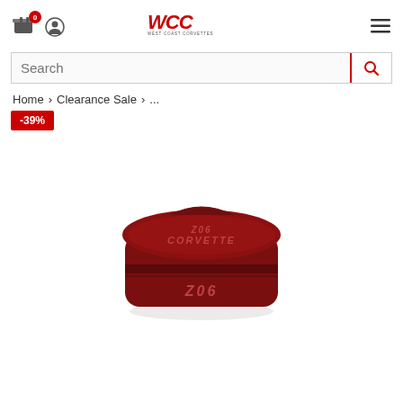West Coast Corvettes header with cart, user icon, logo, and menu
Search
Home > Clearance Sale > ...
-39%
[Figure (photo): A red anodized aluminum oil cap cover for Corvette Z06, with engraved Z06 and CORVETTE text on a dark red metallic surface.]